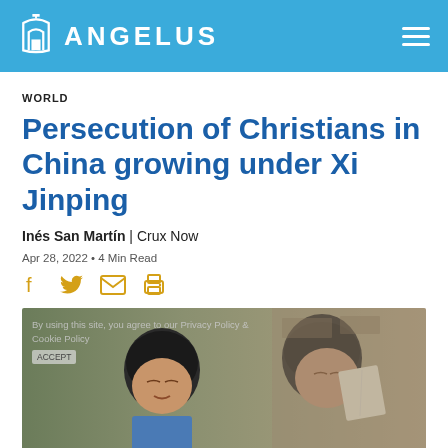ANGELUS
WORLD
Persecution of Christians in China growing under Xi Jinping
Inés San Martín | Crux Now
Apr 28, 2022 • 4 Min Read
[Figure (other): Social share icons: Facebook, Twitter, Email, Print in gold/yellow color]
[Figure (photo): Photo of two Asian people appearing to be praying or reading, with a cookie consent overlay visible reading 'By using this site, you agree to our Privacy Policy & Cookie Policy' and an ACCEPT button]